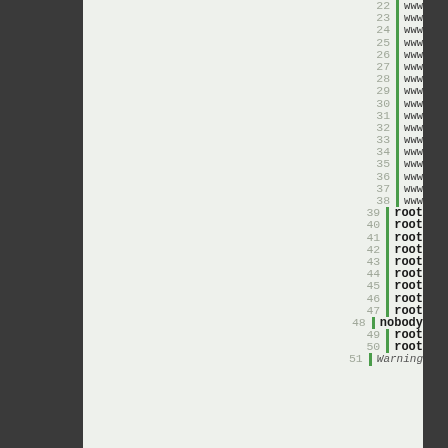[Figure (screenshot): Code editor screenshot showing line numbers 22-51 with a green separator bar and usernames (www, root, nobody, Warning) in the right panel. Left side shows a light green code area, left dark sidebar visible.]